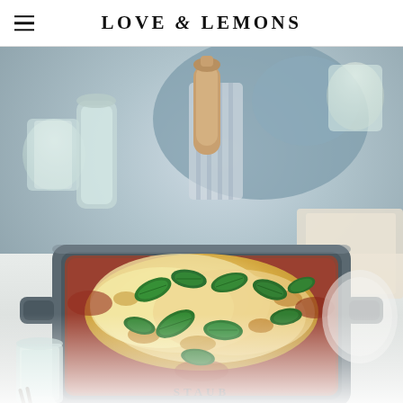LOVE & LEMONS
[Figure (photo): A baked vegetarian lasagna with melted mozzarella cheese and fresh basil leaves in a grey Staub cast iron baking dish, photographed on a dining table with glasses of white wine and linen napkins in the background. The website header shows 'LOVE & LEMONS' in bold serif type with a hamburger menu icon on the left.]